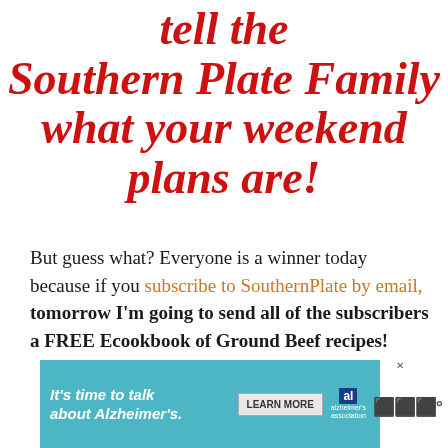tell the Southern Plate Family what your weekend plans are!
But guess what? Everyone is a winner today because if you subscribe to SouthernPlate by email, tomorrow I'm going to send all of the subscribers a FREE Ecookbook of Ground Beef recipes!
[Figure (other): Advertisement banner for Alzheimer's Association: 'It's time to talk about Alzheimer's.' with a Learn More button, Alzheimer's Association logo, and close button.]